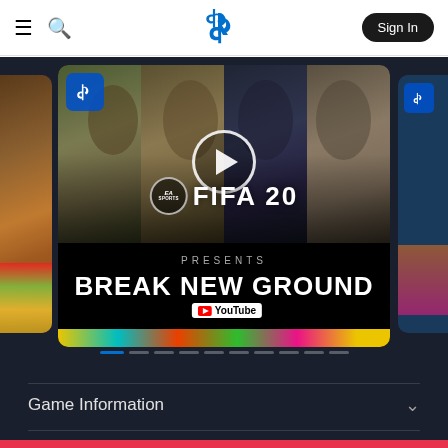PlayStation website header with hamburger menu, search icon, PlayStation logo, and Sign In button
[Figure (screenshot): FIFA 20 EA Sports 'Break New Ground' YouTube video thumbnail shown in a PlayStation Store carousel, featuring four soccer players' faces and a play button overlay. Below the video area is a black banner with 'PRESENTS' text and 'BREAK NEW GROUND' title with YouTube logo. The carousel has pagination dots below.]
Game Information
∨